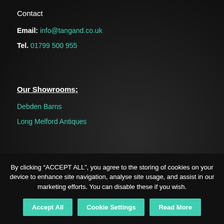Contact
Email: info@tangand.co.uk
Tel. 01799 500 955
Our Showrooms:
Debden Barns
Long Melford Antiques
Quick Links
By clicking “ACCEPT ALL”, you agree to the storing of cookies on your device to enhance site navigation, analyse site usage, and assist in our marketing efforts. You can disable these if you wish.
Accept All | Cookie Settings | Read More